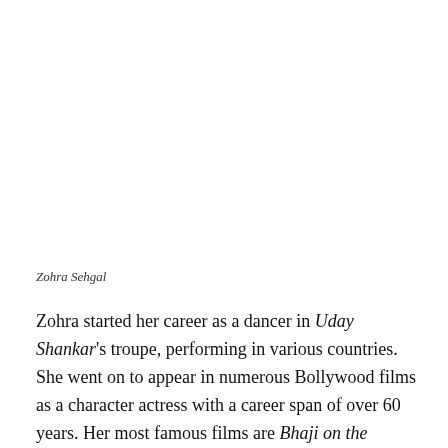Zohra Sehgal
Zohra started her career as a dancer in Uday Shankar's troupe, performing in various countries. She went on to appear in numerous Bollywood films as a character actress with a career span of over 60 years. Her most famous films are Bhaji on the Beach, The Mystic Masseur, Bend It Like Beckham, Dil Se, Saawariya and Cheeni Kum. At the age of 90, she played